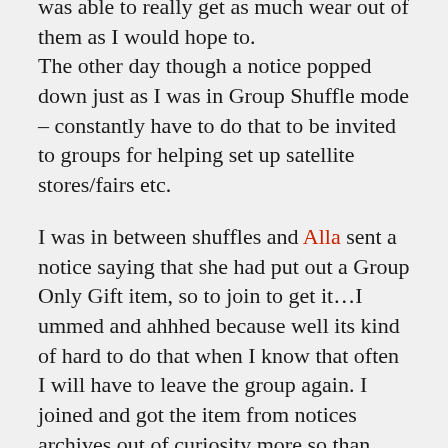was able to really get as much wear out of them as I would hope to. The other day though a notice popped down just as I was in Group Shuffle mode – constantly have to do that to be invited to groups for helping set up satellite stores/fairs etc.
I was in between shuffles and Alla sent a notice saying that she had put out a Group Only Gift item, so to join to get it…I ummed and ahhhed because well its kind of hard to do that when I know that often I will have to leave the group again. I joined and got the item from notices archives out of curiosity more so than anything, and sent an IM to Alla saying thank you.
It took a few days to be able to unpack it and get over to the store, I did tell Alla I would visit later that day, but all the theft stuff happened so didn't make it. I think I am glad I waited though, today I had the time to try on the